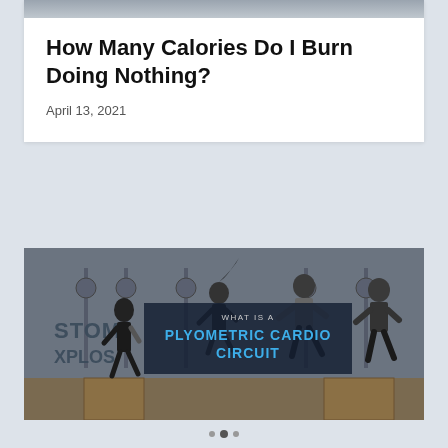[Figure (photo): Top strip of a gym/fitness photo partially visible at top of first card]
How Many Calories Do I Burn Doing Nothing?
April 13, 2021
[Figure (photo): Group of athletes jumping on wooden boxes in a gym, with overlay text reading WHAT IS A PLYOMETRIC CARDIO CIRCUIT]